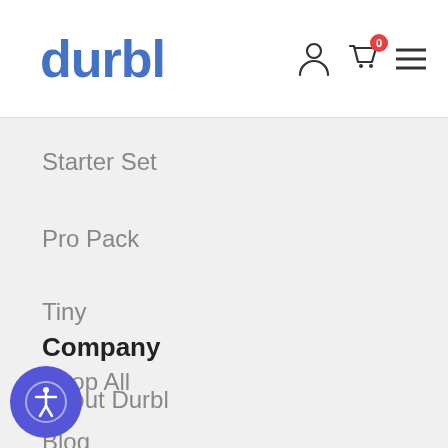durbl
Starter Set
Pro Pack
Tiny
Shop All
Company
About Durbl
Blog